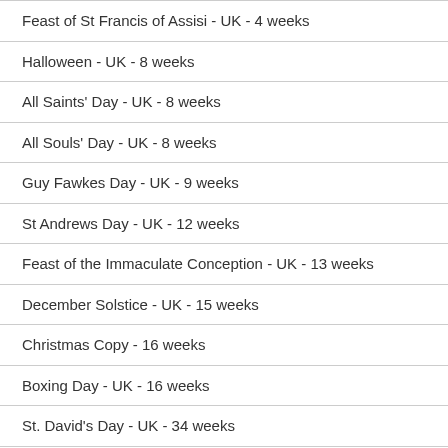Feast of St Francis of Assisi - UK - 4 weeks
Halloween - UK - 8 weeks
All Saints' Day - UK - 8 weeks
All Souls' Day - UK - 8 weeks
Guy Fawkes Day - UK - 9 weeks
St Andrews Day - UK - 12 weeks
Feast of the Immaculate Conception - UK - 13 weeks
December Solstice - UK - 15 weeks
Christmas Copy - 16 weeks
Boxing Day - UK - 16 weeks
St. David's Day - UK - 34 weeks
Second day of January - UK - 34 weeks
Orthodox Christmas Day - UK - 34 weeks